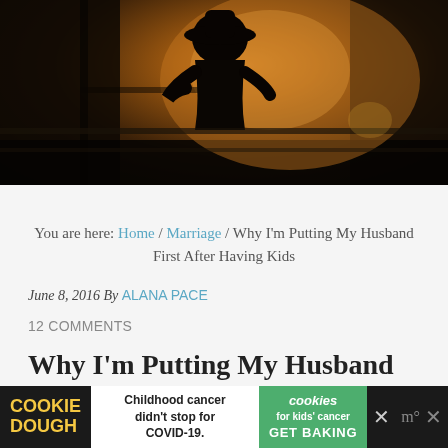[Figure (photo): Dark silhouette of a child or small figure against a warm golden-orange backlit window, moody and atmospheric photograph]
You are here: Home / Marriage / Why I'm Putting My Husband First After Having Kids
June 8, 2016 By ALANA PACE
12 COMMENTS
Why I'm Putting My Husband First After Having Kids
[Figure (screenshot): Cookie Dough advertisement banner: 'Childhood cancer didn't stop for COVID-19. Cookies for kids' cancer GET BAKING']